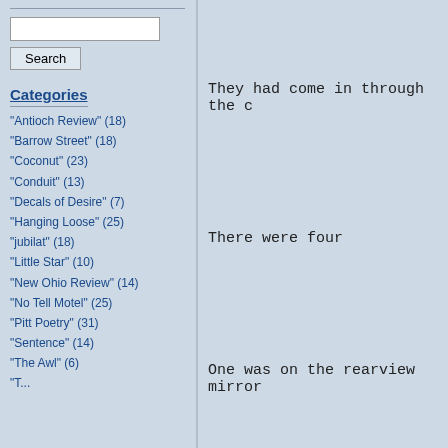"Antioch Review" (18)
"Barrow Street" (18)
"Coconut" (23)
"Conduit" (13)
"Decals of Desire" (7)
"Hanging Loose" (25)
"jubilat" (18)
"Little Star" (10)
"New Ohio Review" (14)
"No Tell Motel" (25)
"Pitt Poetry" (31)
"Sentence" (14)
"The Awl" (6)
They had come in through the c
There were four
One was on the rearview mirror